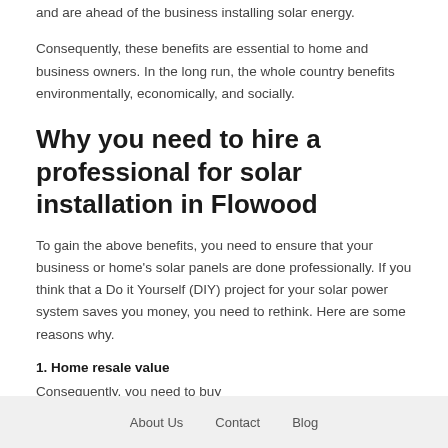and are ahead of the business installing solar energy.
Consequently, these benefits are essential to home and business owners. In the long run, the whole country benefits environmentally, economically, and socially.
Why you need to hire a professional for solar installation in Flowood
To gain the above benefits, you need to ensure that your business or home's solar panels are done professionally. If you think that a Do it Yourself (DIY) project for your solar power system saves you money, you need to rethink. Here are some reasons why.
1. Home resale value
Consequently, you need to buy...
About Us   Contact   Blog